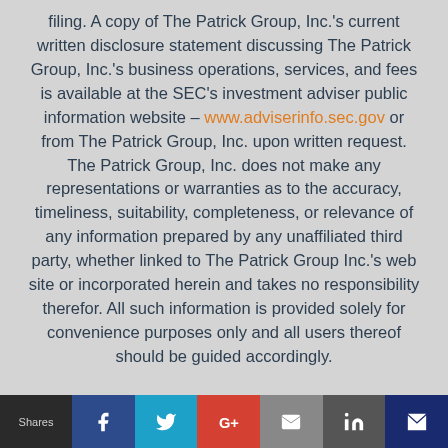filing. A copy of The Patrick Group, Inc.'s current written disclosure statement discussing The Patrick Group, Inc.'s business operations, services, and fees is available at the SEC's investment adviser public information website – www.adviserinfo.sec.gov or from The Patrick Group, Inc. upon written request. The Patrick Group, Inc. does not make any representations or warranties as to the accuracy, timeliness, suitability, completeness, or relevance of any information prepared by any unaffiliated third party, whether linked to The Patrick Group Inc.'s web site or incorporated herein and takes no responsibility therefor. All such information is provided solely for convenience purposes only and all users thereof should be guided accordingly.
The Patrick Group (DBA Stage 2 Planning Partners) is a registered investment adviser.
Shares | f | t | G+ | email | in | crown